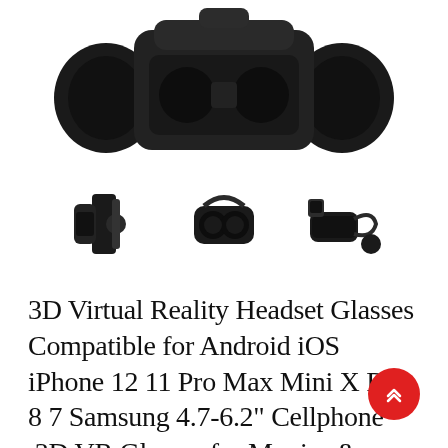[Figure (photo): Top portion of a 3D VR headset with headphones/earphones attached, shown from above, dark/black color, on white background]
[Figure (photo): Three thumbnail images of the VR headset from different angles: side view showing mounting bracket, front view of the headset, and side view showing the full headset with strap]
3D Virtual Reality Headset Glasses Compatible for Android iOS iPhone 12 11 Pro Max Mini X R S 8 7 Samsung 4.7-6.2" Cellphone ,3D VR Glasses for Movies & Video Games IMAX
$139.98